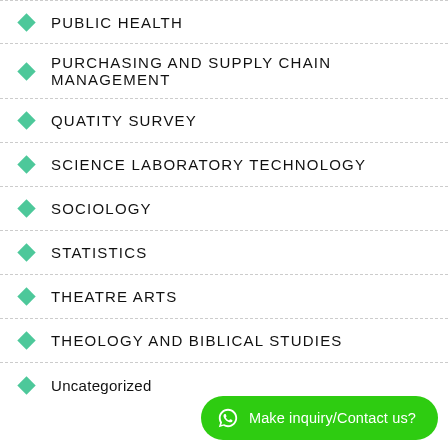PUBLIC HEALTH
PURCHASING AND SUPPLY CHAIN MANAGEMENT
QUATITY SURVEY
SCIENCE LABORATORY TECHNOLOGY
SOCIOLOGY
STATISTICS
THEATRE ARTS
THEOLOGY AND BIBLICAL STUDIES
Uncategorized
Make inquiry/Contact us?